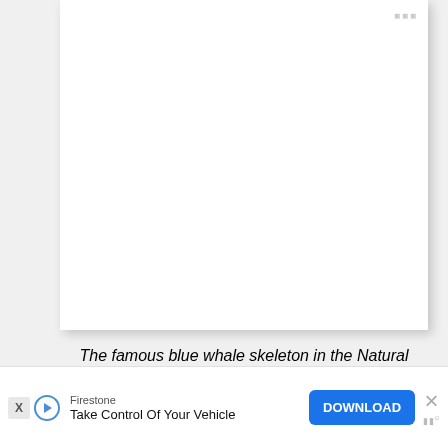[Figure (photo): Photo of the famous blue whale skeleton displayed in the Natural History Museum, shown suspended in a large hall. The image area is white/blank in this cropped view.]
The famous blue whale skeleton in the Natural History Museum....
The museum showcases a vast array of specimens and artifacts from the world's history through the ages. Plus, there's a massive blue whale skeleton suspended in the centre that is sure to
[Figure (screenshot): Advertisement banner for Firestone: 'Take Control Of Your Vehicle' with a DOWNLOAD button, X close button, and Firestone logo.]